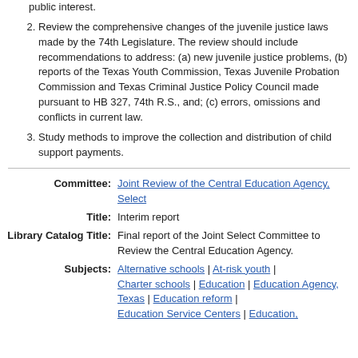public interest.
Review the comprehensive changes of the juvenile justice laws made by the 74th Legislature. The review should include recommendations to address: (a) new juvenile justice problems, (b) reports of the Texas Youth Commission, Texas Juvenile Probation Commission and Texas Criminal Justice Policy Council made pursuant to HB 327, 74th R.S., and; (c) errors, omissions and conflicts in current law.
Study methods to improve the collection and distribution of child support payments.
Committee: Joint Review of the Central Education Agency, Select
Title: Interim report
Library Catalog Title: Final report of the Joint Select Committee to Review the Central Education Agency.
Subjects: Alternative schools | At-risk youth | Charter schools | Education | Education Agency, Texas | Education reform | Education Service Centers | Education,